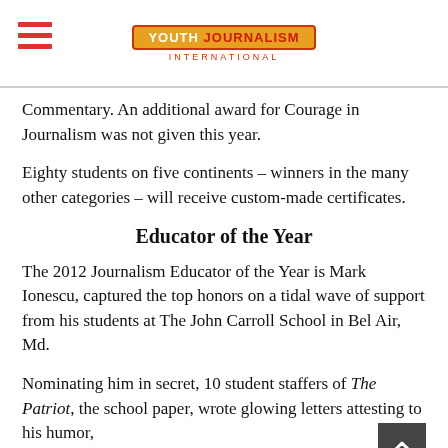Youth Journalism International
Commentary. An additional award for Courage in Journalism was not given this year.
Eighty students on five continents – winners in the many other categories – will receive custom-made certificates.
Educator of the Year
The 2012 Journalism Educator of the Year is Mark Ionescu, captured the top honors on a tidal wave of support from his students at The John Carroll School in Bel Air, Md.
Nominating him in secret, 10 student staffers of The Patriot, the school paper, wrote glowing letters attesting to his humor, skill, care and enthusiasm as well as to their paper's len